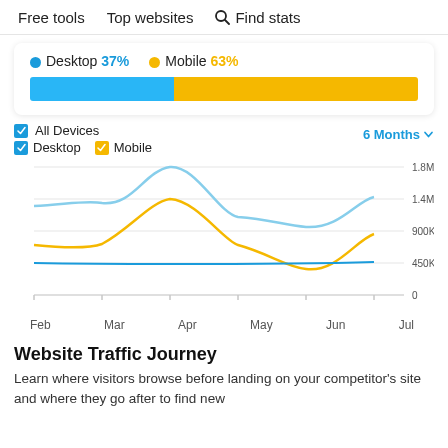Free tools   Top websites   🔍 Find stats
[Figure (infographic): Desktop 37% (blue dot) and Mobile 63% (yellow dot) legend with horizontal stacked bar: 37% blue, 63% yellow]
[Figure (line-chart): Traffic over 6 Months]
Website Traffic Journey
Learn where visitors browse before landing on your competitor's site and where they go after to find new